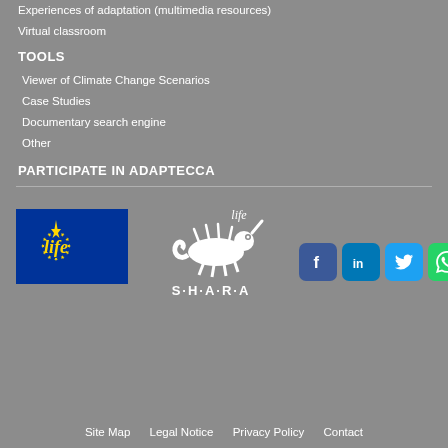Experiences of adaptation (multimedia resources)
Virtual classroom
TOOLS
Viewer of Climate Change Scenarios
Case Studies
Documentary search engine
Other
PARTICIPATE IN ADAPTECCA
[Figure (logo): EU LIFE programme logo - blue rectangle with yellow stars circle and 'life' text in yellow]
[Figure (logo): LIFE SHARA logo - white chameleon illustration with 'life S·H·A·R·A' text]
[Figure (logo): Social media icons: Facebook, LinkedIn, Twitter, WhatsApp, Email]
Site Map   Legal Notice   Privacy Policy   Contact